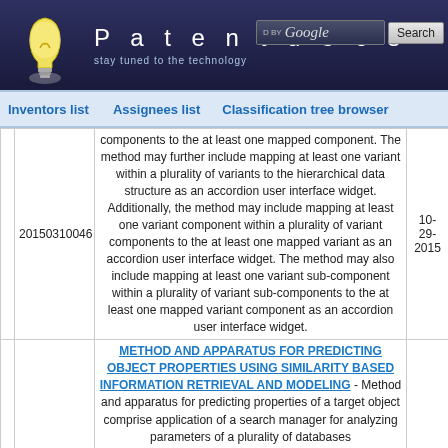[Figure (screenshot): Patentdocs website header with lightbulb logo, brand name 'Patentdocs', tagline 'stay tuned to the technology', Google search box, and Search button]
Inventors list   Assignees list   Classification tree browser
|  | Patent Number | Description | Date |
| --- | --- | --- | --- |
|  | 20150310046 | components to the at least one mapped component. The method may further include mapping at least one variant within a plurality of variants to the hierarchical data structure as an accordion user interface widget. Additionally, the method may include mapping at least one variant component within a plurality of variant components to the at least one mapped variant as an accordion user interface widget. The method may also include mapping at least one variant sub-component within a plurality of variant sub-components to the at least one mapped variant component as an accordion user interface widget. | 10-29-2015 |
|  |  | METHOD AND APPARATUS FOR PREDICTING OBJECT PROPERTIES USING SIMILARITY BASED INFORMATION RETRIEVAL AND MODELING - Method and apparatus for predicting properties of a target object comprise application of a search manager for analyzing parameters of a plurality of databases |  |